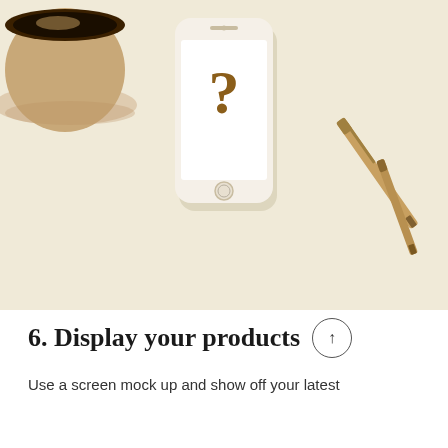[Figure (photo): Flat lay photo on cream/beige background showing: a coffee cup in top-left corner, a smartphone in the center with a question mark on the screen, and two pens/pencils in the bottom-right corner.]
6. Display your products
Use a screen mock up and show off your latest